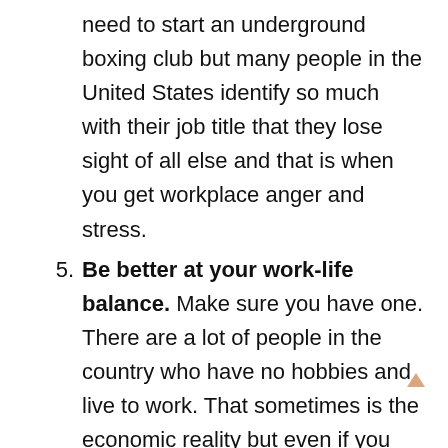need to start an underground boxing club but many people in the United States identify so much with their job title that they lose sight of all else and that is when you get workplace anger and stress.
5. Be better at your work-life balance. Make sure you have one. There are a lot of people in the country who have no hobbies and live to work. That sometimes is the economic reality but even if you work long hours, you can make some balance for your li
6. Find fun things to do when you are